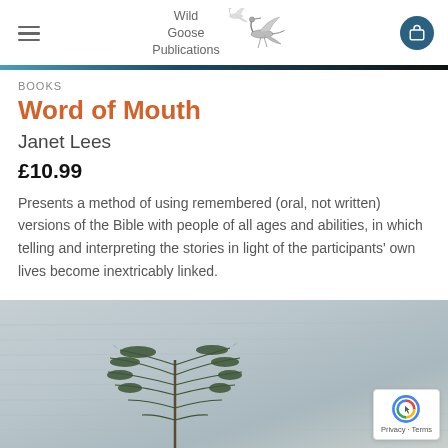Wild Goose Publications
BOOKS
Word of Mouth
Janet Lees
£10.99
Presents a method of using remembered (oral, not written) versions of the Bible with people of all ages and abilities, in which telling and interpreting the stories in light of the participants' own lives become inextricably linked.
[Figure (photo): Outdoor nature photo showing a small pine tree or shrub branch against a grey water or sky background, partially visible at the bottom of the page.]